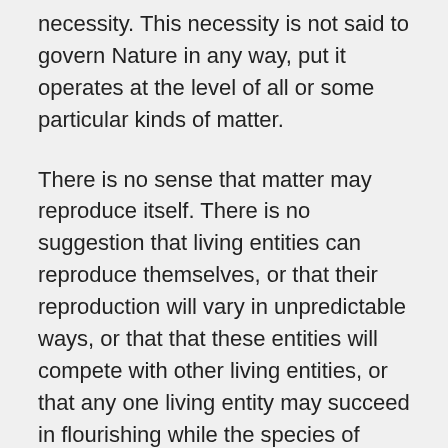necessity. This necessity is not said to govern Nature in any way, put it operates at the level of all or some particular kinds of matter.
There is no sense that matter may reproduce itself. There is no suggestion that living entities can reproduce themselves, or that their reproduction will vary in unpredictable ways, or that that these entities will compete with other living entities, or that any one living entity may succeed in flourishing while the species of which that one individual is part faces inevitable extinction because of a drastic change in the environment. An individual living entity or any other product of nature may be virtuous, deficient, or incomplete. But there is no suggestion that any general habit of combining